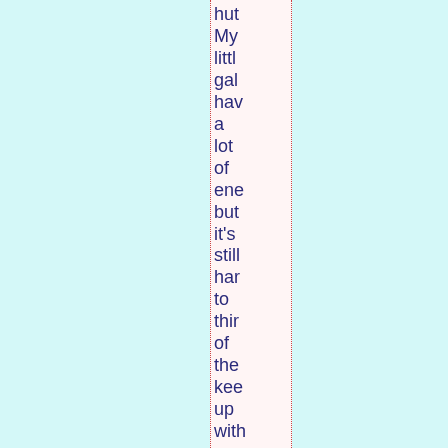hut My little gal hav a lot of ene but it's still har to thir of the kee up with a her of